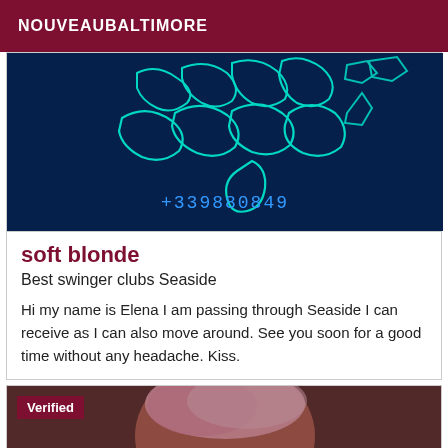NOUVEAUBALTIMORE
[Figure (photo): Neon sign on dark blue background showing decorative script text and a phone number +339880849 mirrored/stylized]
soft blonde
Best swinger clubs Seaside
Hi my name is Elena I am passing through Seaside I can receive as I can also move around. See you soon for a good time without any headache. Kiss.
[Figure (photo): Partial photo of a person with pink/blonde hair, dark background, with a 'Verified' badge in the top left corner]